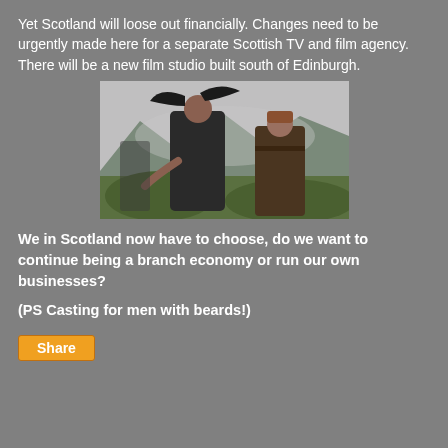Yet Scotland will loose out financially. Changes need to be urgently made here for a separate Scottish TV and film agency. There will be a new film studio built south of Edinburgh.
[Figure (photo): A man and woman in highland/period costume outdoors with mountains and grey sky behind them — appears to be promotional image from the TV show Outlander.]
We in Scotland now have to choose, do we want to continue being a branch economy or run our own businesses?
(PS Casting for men with beards!)